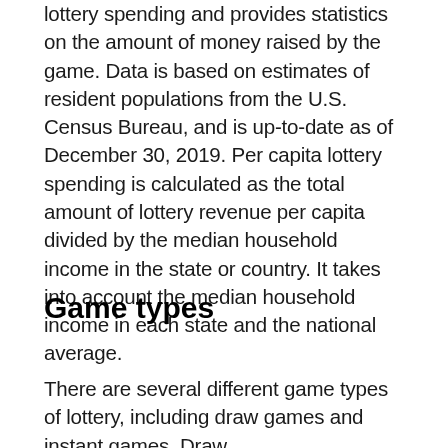The US Census Bureau tracks state and national lottery spending and provides statistics on the amount of money raised by the game. Data is based on estimates of resident populations from the U.S. Census Bureau, and is up-to-date as of December 30, 2019. Per capita lottery spending is calculated as the total amount of lottery revenue per capita divided by the median household income in the state or country. It takes into account the median household income in each state and the national average.
Game types
There are several different game types of lottery, including draw games and instant games. Draw games are usually a combination of five or six numbers...